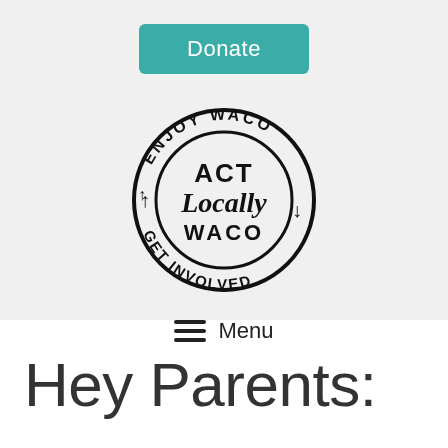[Figure (logo): Teal rounded rectangle donate button with white text reading 'Donate']
[Figure (logo): Act Locally Waco circular logo with text 'ENJOY WACO', 'ACT Locally WACO', 'GET INVOLVED' and circular arrows]
Menu
Hey Parents: